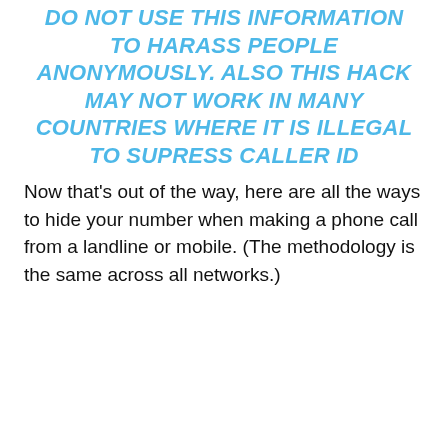DO NOT USE THIS INFORMATION TO HARASS PEOPLE ANONYMOUSLY. ALSO THIS HACK MAY NOT WORK IN MANY COUNTRIES WHERE IT IS ILLEGAL TO SUPRESS CALLER ID
Now that's out of the way, here are all the ways to hide your number when making a phone call from a landline or mobile. (The methodology is the same across all networks.)